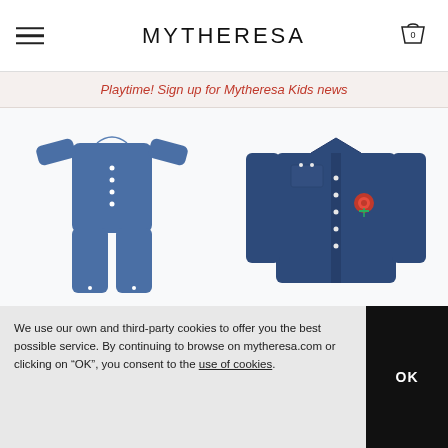MYTHERESA
Playtime! Sign up for Mytheresa Kids news
[Figure (photo): Child's blue denim jumpsuit/coverall with snap buttons, long sleeves, on white background]
MINI RODINI
€ 110
NEW ARRIVAL
[Figure (photo): Child's dark blue denim shirt with snap buttons, chest pockets, and embroidered rose detail, long sleeves, on white background]
MINI RODINI
€ 92
NEW ARRIVAL
We use our own and third-party cookies to offer you the best possible service. By continuing to browse on mytheresa.com or clicking on "OK", you consent to the use of cookies.